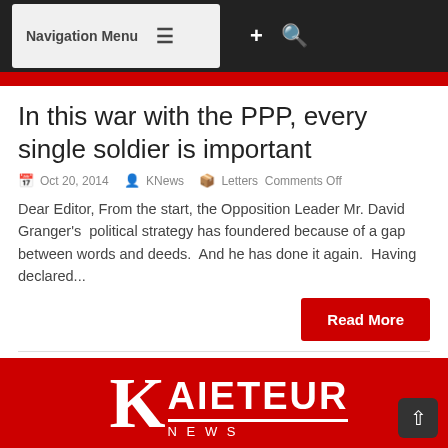Navigation Menu
In this war with the PPP, every single soldier is important
Oct 20, 2014  KNews  Letters Comments Off
Dear Editor, From the start, the Opposition Leader Mr. David Granger's  political strategy has foundered because of a gap between words and deeds.  And he has done it again.  Having declared...
Read More
[Figure (logo): Kaieteur News logo — white K and AIETEUR text on red background]